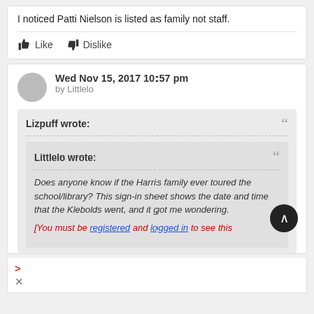I noticed Patti Nielson is listed as family not staff.
Like  Dislike
Wed Nov 15, 2017 10:57 pm
by Littlelo
Lizpuff wrote:
Littlelo wrote:
Does anyone know if the Harris family ever toured the school/library? This sign-in sheet shows the date and time that the Klebolds went, and it got me wondering.
[You must be registered and logged in to see this